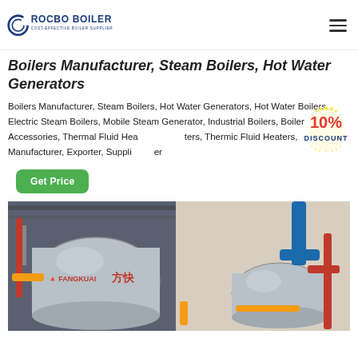ROCBO BOILER - COST-EFFECTIVE BOILER SUPPLIER
Boilers Manufacturer, Steam Boilers, Hot Water Generators
Boilers Manufacturer, Steam Boilers, Hot Water Generators, Hot Water Boilers, Electric Steam Boilers, Mobile Steam Generator, Industrial Boilers, Boiler Accessories, Thermal Fluid Heaters, Thermic Fluid Heaters, Manufacturer, Exporter, Supplier
[Figure (infographic): 10% DISCOUNT badge/sticker in red and blue on a white sunburst background]
[Figure (photo): Industrial boilers installation showing two large cylindrical silver boilers with red, blue, and yellow pipes in a factory setting. Chinese text on boiler reads Fangkuai (方快).]